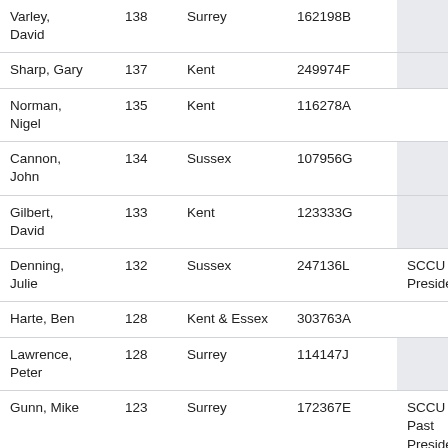| Name | Score | County | ID | Notes |
| --- | --- | --- | --- | --- |
| Varley, David | 138 | Surrey | 162198B |  |
| Sharp, Gary | 137 | Kent | 249974F |  |
| Norman, Nigel | 135 | Kent | 116278A |  |
| Cannon, John | 134 | Sussex | 107956G |  |
| Gilbert, David | 133 | Kent | 123333G |  |
| Denning, Julie | 132 | Sussex | 247136L | SCCU President |
| Harte, Ben | 128 | Kent & Essex | 303763A |  |
| Lawrence, Peter | 128 | Surrey | 114147J |  |
| Gunn, Mike | 123 | Surrey | 172367E | SCCU Past President |